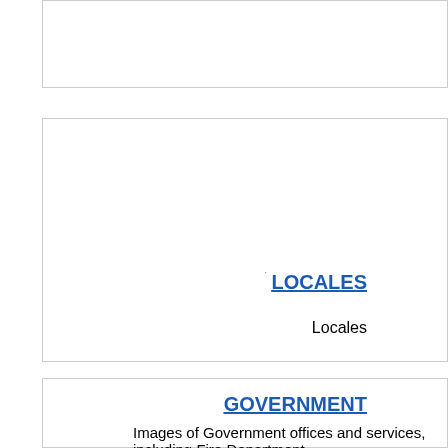[Figure (other): Top card - partial image card with no visible content]
LOCALES
Locales
[Figure (other): Bottom card - partial image card]
GOVERNMENT
Images of Government offices and services, including Fire Department, the Cold War, Town Hall and the State B